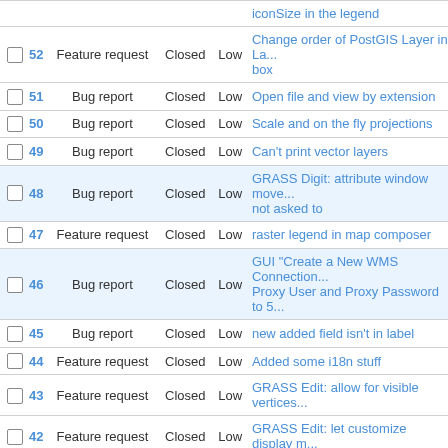|  | # | Type | Status | Priority | Title |
| --- | --- | --- | --- | --- | --- |
|  |  |  |  |  | iconSize in the legend |
| ☐ | 52 | Feature request | Closed | Low | Change order of PostGIS Layer in La... box |
| ☐ | 51 | Bug report | Closed | Low | Open file and view by extension |
| ☐ | 50 | Bug report | Closed | Low | Scale and on the fly projections |
| ☐ | 49 | Bug report | Closed | Low | Can't print vector layers |
| ☐ | 48 | Bug report | Closed | Low | GRASS Digit: attribute window move... not asked to |
| ☐ | 47 | Feature request | Closed | Low | raster legend in map composer |
| ☐ | 46 | Bug report | Closed | Low | GUI "Create a New WMS Connection... Proxy User and Proxy Password to 5... |
| ☐ | 45 | Bug report | Closed | Low | new added field isn't in label |
| ☐ | 44 | Feature request | Closed | Low | Added some i18n stuff |
| ☐ | 43 | Feature request | Closed | Low | GRASS Edit: allow for visible vertices... |
| ☐ | 42 | Feature request | Closed | Low | GRASS Edit: let customize display m... |
| ☐ | 41 | Feature request | Closed | Low | GRASS Edit: expose un-labelled obje... |
| ☐ | 40 | Feature request | Closed | Low | GRASS Editing: wish dialog save edit... without saving |
| ☐ | 39 | Bug report | Closed | Low | Raster layers are not reloaded if sour... changed |
| ☐ | 38 | Bug report | Closed | Low | Saved WMS layers do not reload |
| ☐ | 37 | Bug report | Closed | Low | Problem with "Remove layer" |